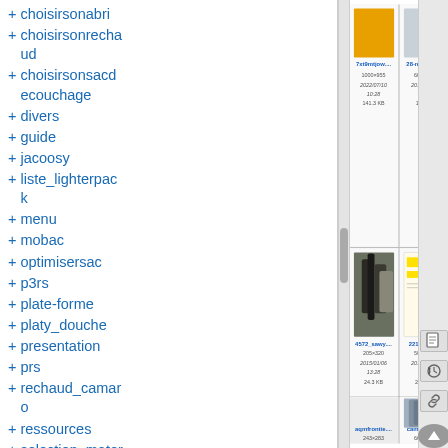+ choisirsonabri
+ choisirsonrechaud
+ choisirsonsacde couchage
+ divers
+ guide
+ jacoosy
+ liste_lighterpack
+ menu
+ mobac
+ optimisersac
+ p3rs
+ plate-forme
+ platy_douche
+ presentation
+ prs
+ rechaud_camaro
+ ressources
+ selection_mater
[Figure (screenshot): File thumbnail grid showing: 7xt9mtjow... (1000x955, 2022/07/10 10:28, 141.3 KB), 28-montag... (600x902, 2013/07/23 14:49, 148 KB), 29- (partial), 4572_sawy... photo of water filter (205x320, 2015/01/06 13:28, 24.3 KB), 22183_2.gif colored block diagram (500x333, 2014/12/30 00:45, 25.1 KB), partial third item, aqmfrontie... (243x283), campm5-_... photo of backpack (664x800), partial third item]
File grid thumbnails with metadata